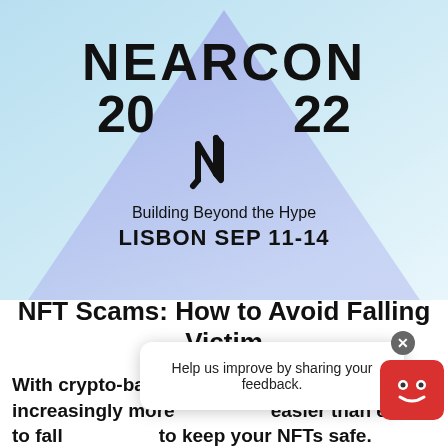[Figure (logo): NEARCON 2022 event banner with blue/teal gradient background, purple triangle shape, NEAR Protocol logo, text 'Building Beyond the Hype LISBON SEP 11-14']
NFT Scams: How to Avoid Falling Victim
With crypto-based scams becoming increasingly more [obscured] easier than ever to fall [obscured] to keep your NFTs safe.